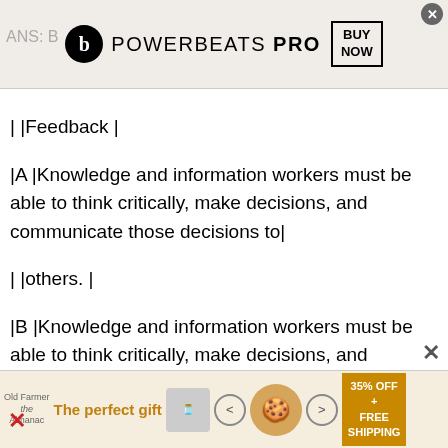[Figure (screenshot): Powerbeats PRO advertisement banner with Beats logo, 'POWERBEATS PRO' text, and 'BUY NOW' box]
ANS: B
| |Feedback |
|A |Knowledge and information workers must be able to think critically, make decisions, and communicate those decisions to|
| |others. |
|B |Knowledge and information workers must be able to think critically, make decisions, and communicate those decisions to|
| |others. |
|C |Knowledge and information workers must be able to think critically, make decisions, and communicate those decisions to|
[Figure (screenshot): Advertisement banner: 'The perfect gift' with arrows, bowl image, and '35% OFF + FREE SHIPPING' promo]